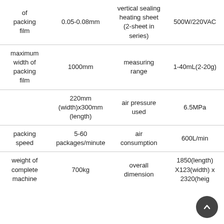| of packing film | 0.05-0.08mm | vertical sealing heating sheet (2-sheet in series) | 500W/220VAC |
| maximum width of packing film | 1000mm | measuring range | 1-40mL(2-20g) |
|  | 220mm (width)x300mm (length) | air pressure used | 6.5MPa |
| packing speed | 5-60 packages/minute | air consumption | 600L/min |
| weight of complete machine | 700kg | overall dimension | 1850(length) X123(width) x 2320(heig… |